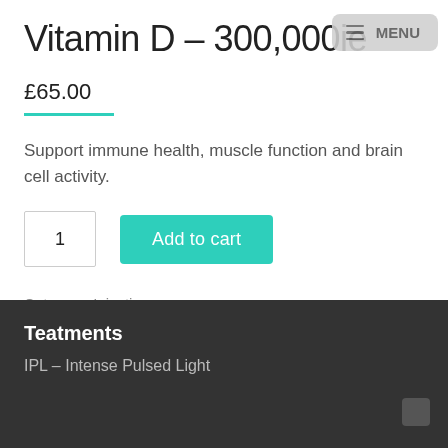Vitamin D – 300,000ie
£65.00
Support immune health, muscle function and brain cell activity.
Category: Injections •
Teatments
IPL – Intense Pulsed Light